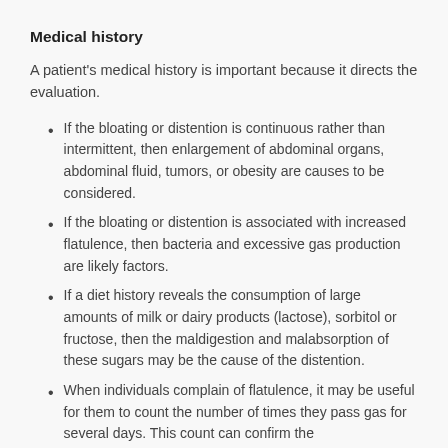Medical history
A patient's medical history is important because it directs the evaluation.
If the bloating or distention is continuous rather than intermittent, then enlargement of abdominal organs, abdominal fluid, tumors, or obesity are causes to be considered.
If the bloating or distention is associated with increased flatulence, then bacteria and excessive gas production are likely factors.
If a diet history reveals the consumption of large amounts of milk or dairy products (lactose), sorbitol or fructose, then the maldigestion and malabsorption of these sugars may be the cause of the distention.
When individuals complain of flatulence, it may be useful for them to count the number of times they pass gas for several days. This count can confirm the